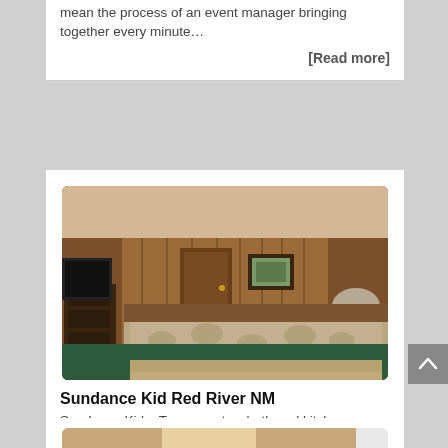mean the process of an event manager bringing together every minute…
[Read more]
[Figure (photo): Interior of a lodge-style room with wood-paneled walls, a bed with a floral/patchwork comforter, dresser, TV, and framed artwork on the wall.]
Sundance Kid Red River NM
Sundance Kid – Two room two bath and kitchen lodging for 6 Each authentic lodge-style room has beautiful tongue and…
[Read more]
[Figure (photo): Partial view of another room interior (bottom card, cut off).]